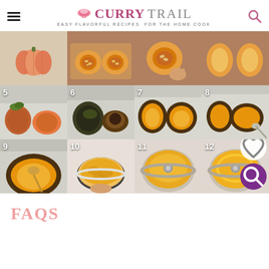CURRY TRAIL — EASY FLAVORFUL RECIPES FOR THE HOME COOK
[Figure (photo): 12-step photo grid showing how to make pumpkin puree: whole pink/tan pumpkin, cut in half showing seeds, scooping seeds, cleaned halves, pumpkin placed face-down on foil-lined baking sheet, roasted pumpkin (skin blackened), roasted halves face-up, scooping flesh with spoon, bowl of scooped pumpkin flesh, food processor blending to smooth puree — steps 1 through 12 shown in 3 rows of 4 photos. Steps 5-9 visible with numbers. Pinterest save button showing 115 saves.]
FAQS